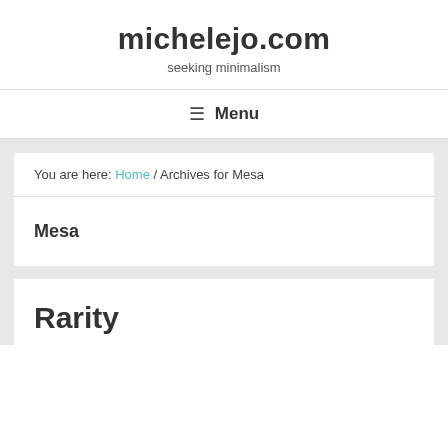michelejo.com
seeking minimalism
Menu
You are here: Home / Archives for Mesa
Mesa
Rarity